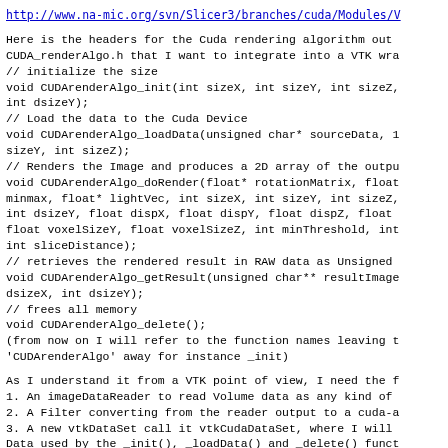http://www.na-mic.org/svn/Slicer3/branches/cuda/Modules/V
Here is the headers for the Cuda rendering algorithm out
CUDA_renderAlgo.h that I want to integrate into a VTK wra
// initialize the size
void CUDArenderAlgo_init(int sizeX, int sizeY, int sizeZ,
int dsizeY);
// Load the data to the Cuda Device
void CUDArenderAlgo_loadData(unsigned char* sourceData, 1
sizeY, int sizeZ);
// Renders the Image and produces a 2D array of the outpu
void CUDArenderAlgo_doRender(float* rotationMatrix, float
minmax, float* lightVec, int sizeX, int sizeY, int sizeZ,
int dsizeY, float dispX, float dispY, float dispZ, float
float voxelSizeY, float voxelSizeZ, int minThreshold, int
int sliceDistance);
// retrieves the rendered result in RAW data as Unsigned
void CUDArenderAlgo_getResult(unsigned char** resultImage
dsizeX, int dsizeY);
// frees all memory
void CUDArenderAlgo_delete();
(from now on I will refer to the function names leaving t
'CUDArenderAlgo' away for instance _init)
As I understand it from a VTK point of view, I need the f
1. An imageDataReader to read Volume data as any kind of
2. A Filter converting from the reader output to a cuda-a
3. A new vtkDataSet call it vtkCudaDataSet, where I will
Data used by the _init(), _loadData() and _delete() funct